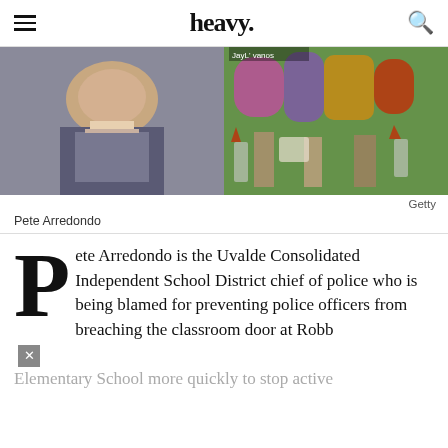heavy.
[Figure (photo): Two photos side by side: left shows Pete Arredondo, a man in a suit with a blue tie; right shows a memorial with flowers, candles, stuffed animals, and American flags]
Getty
Pete Arredondo
Pete Arredondo is the Uvalde Consolidated Independent School District chief of police who is being blamed for preventing police officers from breaching the classroom door at Robb Elementary School more quickly to stop active